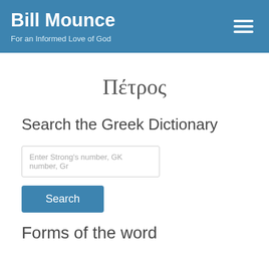Bill Mounce – For an Informed Love of God
Πέτρος
Search the Greek Dictionary
Enter Strong's number, GK number, Gr
Search
Forms of the word